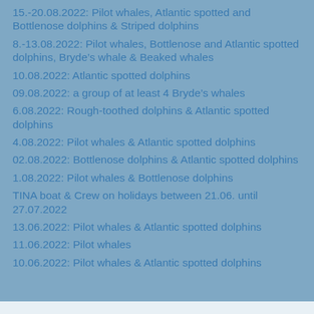15.-20.08.2022: Pilot whales, Atlantic spotted and Bottlenose dolphins & Striped dolphins
8.-13.08.2022: Pilot whales, Bottlenose and Atlantic spotted dolphins, Bryde’s whale & Beaked whales
10.08.2022: Atlantic spotted dolphins
09.08.2022: a group of at least 4 Bryde’s whales
6.08.2022: Rough-toothed dolphins & Atlantic spotted dolphins
4.08.2022: Pilot whales & Atlantic spotted dolphins
02.08.2022: Bottlenose dolphins & Atlantic spotted dolphins
1.08.2022: Pilot whales & Bottlenose dolphins
TINA boat & Crew on holidays between 21.06. until 27.07.2022
13.06.2022: Pilot whales & Atlantic spotted dolphins
11.06.2022: Pilot whales
10.06.2022: Pilot whales & Atlantic spotted dolphins